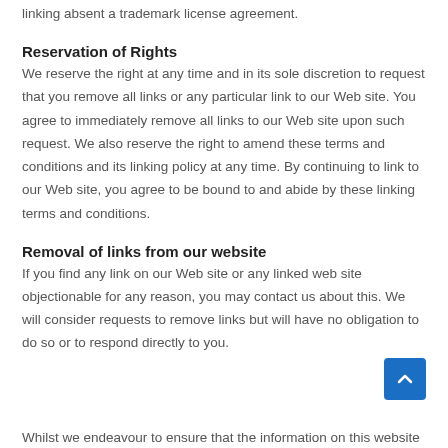linking absent a trademark license agreement.
Reservation of Rights
We reserve the right at any time and in its sole discretion to request that you remove all links or any particular link to our Web site. You agree to immediately remove all links to our Web site upon such request. We also reserve the right to amend these terms and conditions and its linking policy at any time. By continuing to link to our Web site, you agree to be bound to and abide by these linking terms and conditions.
Removal of links from our website
If you find any link on our Web site or any linked web site objectionable for any reason, you may contact us about this. We will consider requests to remove links but will have no obligation to do so or to respond directly to you.
Whilst we endeavour to ensure that the information on this website is